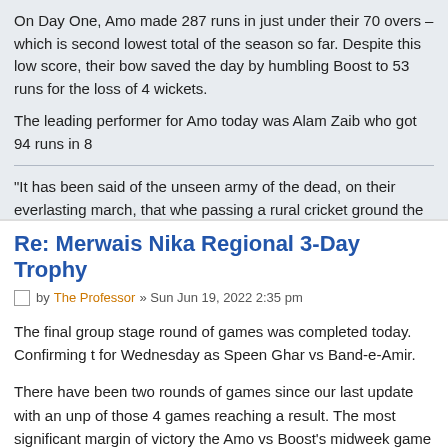On Day One, Amo made 287 runs in just under their 70 overs – which is second lowest total of the season so far. Despite this low score, their bow saved the day by humbling Boost to 53 runs for the loss of 4 wickets.
The leading performer for Amo today was Alam Zaib who got 94 runs in 8
"It has been said of the unseen army of the dead, on their everlasting march, that whe passing a rural cricket ground the Englishman falls out of the ranks for a moment to lo gate and smile."
Re: Merwais Nika Regional 3-Day Trophy
by The Professor » Sun Jun 19, 2022 2:35 pm
The final group stage round of games was completed today. Confirming t for Wednesday as Speen Ghar vs Band-e-Amir.
There have been two rounds of games since our last update with an unp of those 4 games reaching a result. The most significant margin of victory the Amo vs Boost's midweek game where Amo ran out 181 run winners d Boost finish the season winless and bottom of the table whilst for Amo it v only win.
The most eye-catching game from this weekend's round of fixtures was b Mis Ainak and Amo who both gave as good as they got with some stand performances. Batting first Mis Ainak's Naveed Obaid took the bull by th